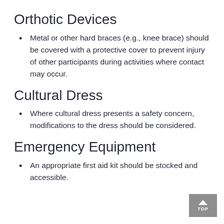Orthotic Devices
Metal or other hard braces (e.g., knee brace) should be covered with a protective cover to prevent injury of other participants during activities where contact may occur.
Cultural Dress
Where cultural dress presents a safety concern, modifications to the dress should be considered.
Emergency Equipment
An appropriate first aid kit should be stocked and accessible.